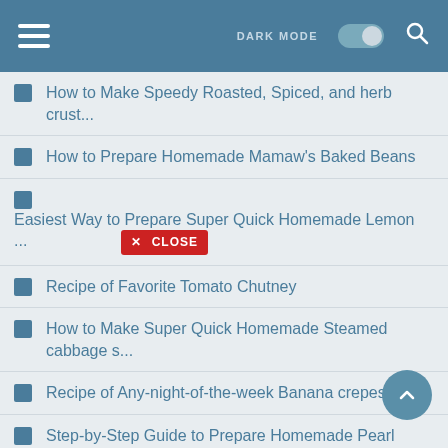DARK MODE [toggle] [search]
How to Make Speedy Roasted, Spiced, and herb crust...
How to Prepare Homemade Mamaw's Baked Beans
Easiest Way to Prepare Super Quick Homemade Lemon ... [X CLOSE]
Recipe of Favorite Tomato Chutney
How to Make Super Quick Homemade Steamed cabbage s...
Recipe of Any-night-of-the-week Banana crepes
Step-by-Step Guide to Prepare Homemade Pearl barle...
How to Make Award-winning Pullao
Recipe of Award-winning Avocado Veggie Toast/ Sand...
Recipe of Favorite Madeira Cake
Step-by-Step Guide to Make Homemade Batch 22...